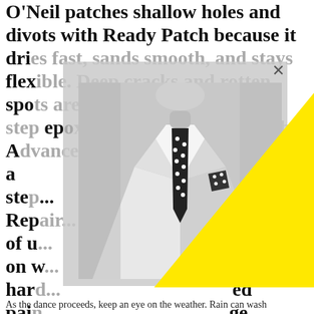O'Neil patches shallow holes and divots with Ready Patch because it dries fast, sands smooth, and stays flexible. Deep cracks and rotten spots are best repaired with two-step epoxies, such as those made by Advanced Repair Technology. (For a step-by-step guide to Repair ways of using ... on wood ... hard ... ed pai... ge. "They look good at first, but then they peel away."
[Figure (photo): Black and white photo of a man in a white suit with a black polka-dot tie and matching pocket square, overlaid with a gray semi-transparent box and a yellow triangle shape.]
As the dance proceeds, keep an eye on the weather. Rain can wash